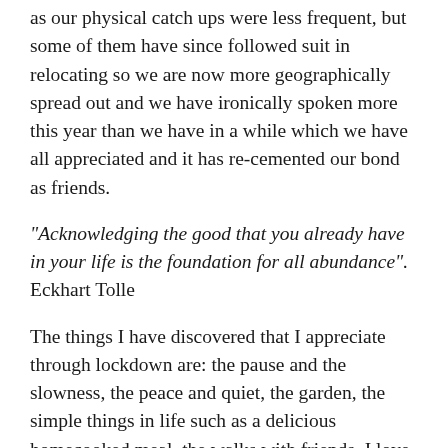as our physical catch ups were less frequent, but some of them have since followed suit in relocating so we are now more geographically spread out and we have ironically spoken more this year than we have in a while which we have all appreciated and it has re-cemented our bond as friends.
“Acknowledging the good that you already have in your life is the foundation for all abundance”. Eckhart Tolle
The things I have discovered that I appreciate through lockdown are: the pause and the slowness, the peace and quiet, the garden, the simple things in life such as a delicious homecooked meal, the walks with friends. I love sending cards to others and I have been touched by the cards and gifts I have received through the post this year.